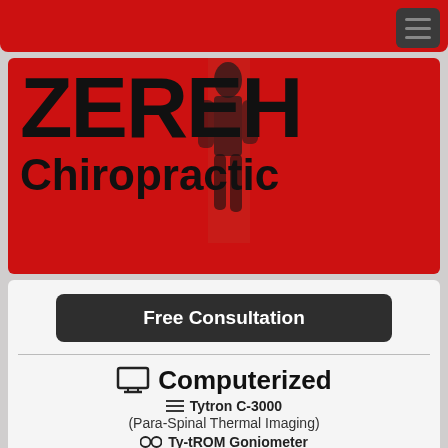[Figure (logo): ZEREH Chiropractic logo on red background with large bold black text and athlete silhouette image in the center of the letters]
Free Consultation
Computerized
≡ Tytron C-3000
(Para-Spinal Thermal Imaging)
⊟ Ty-tROM Goniometer